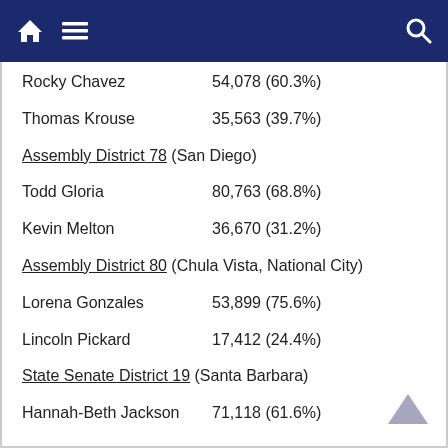Navigation bar with home, menu, and search icons
Rocky Chavez    54,078 (60.3%)
Thomas Krouse    35,563 (39.7%)
Assembly District 78 (San Diego)
Todd Gloria    80,763 (68.8%)
Kevin Melton    36,670 (31.2%)
Assembly District 80 (Chula Vista, National City)
Lorena Gonzales    53,899 (75.6%)
Lincoln Pickard    17,412 (24.4%)
State Senate District 19 (Santa Barbara)
Hannah-Beth Jackson    71,118 (61.6%)